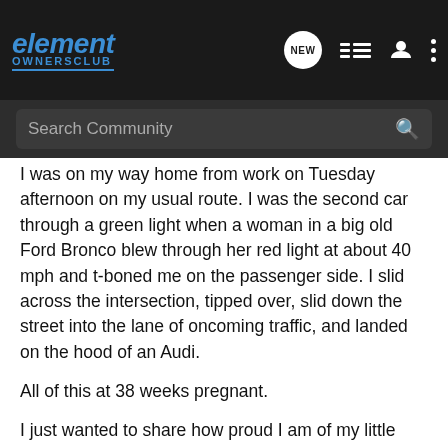element OWNERSCLUB - NEW [icons]
Search Community
I was on my way home from work on Tuesday afternoon on my usual route. I was the second car through a green light when a woman in a big old Ford Bronco blew through her red light at about 40 mph and t-boned me on the passenger side. I slid across the intersection, tipped over, slid down the street into the lane of oncoming traffic, and landed on the hood of an Audi.
All of this at 38 weeks pregnant.
I just wanted to share how proud I am of my little orange Element with some people that would appreciate it. She kept me safe and took all that force of the impact. None of the glass in the front even broke. I have one small bruise, a stiff neck, and a healthy baby that will be born in a couple weeks.
More images of the car and the story are visible at...